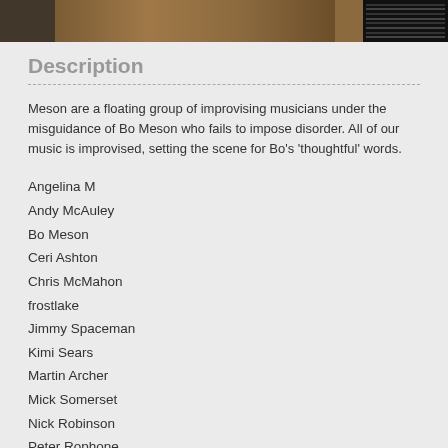[Figure (photo): Partial photo strip showing brown/earthy tones with dark right section]
Description
Meson are a floating group of improvising musicians under the misguidance of Bo Meson who fails to impose disorder. All of our music is improvised, setting the scene for Bo's 'thoughtful' words.
Angelina M
Andy McAuley
Bo Meson
Ceri Ashton
Chris McMahon
frostlake
Jimmy Spaceman
Kimi Sears
Martin Archer
Mick Somerset
Nick Robinson
Peter Rophone
Rob Tarana
Wolfgang Seel